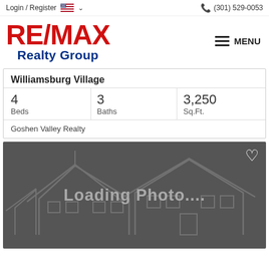Login / Register  (301) 529-0053
[Figure (logo): RE/MAX Realty Group logo in red and blue with MENU hamburger button]
Williamsburg Village
| Beds | Baths | Sq.Ft. |
| --- | --- | --- |
| 4 | 3 | 3,250 |
Goshen Valley Realty
[Figure (photo): Loading Photo... placeholder with house outline silhouette on dark gray background]